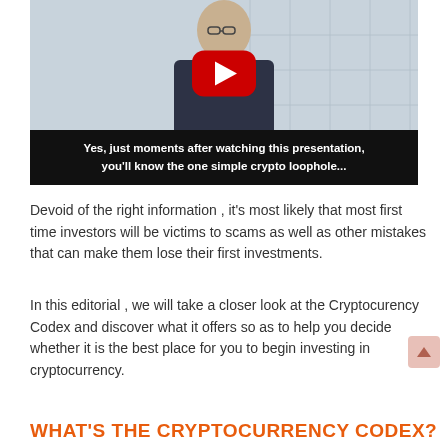[Figure (screenshot): Video thumbnail of a man in a dark shirt standing in front of a light background, with a YouTube-style red play button overlay. A black caption bar at the bottom reads: Yes, just moments after watching this presentation, you'll know the one simple crypto loophole...]
Devoid of the right information , it's most likely that most first time investors will be victims to scams as well as other mistakes that can make them lose their first investments.
In this editorial , we will take a closer look at the Cryptocurency Codex and discover what it offers so as to help you decide whether it is the best place for you to begin investing in cryptocurrency.
WHAT'S THE CRYPTOCURRENCY CODEX?